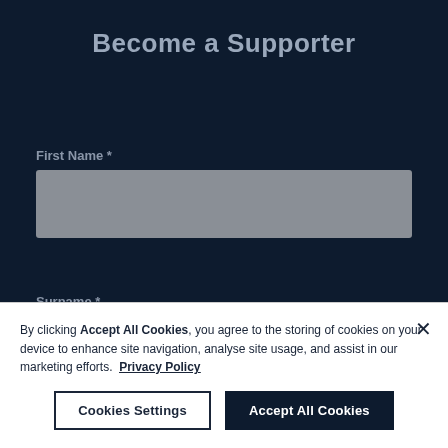Become a Supporter
First Name *
[Figure (other): Empty text input field for First Name, grey background]
Surname *
[Figure (other): Empty text input field for Surname, grey background]
By clicking Accept All Cookies, you agree to the storing of cookies on your device to enhance site navigation, analyse site usage, and assist in our marketing efforts.  Privacy Policy
Cookies Settings
Accept All Cookies